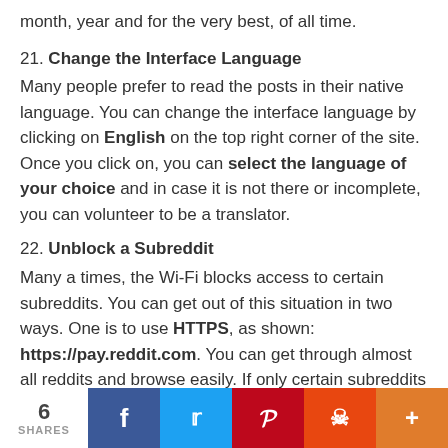month, year and for the very best, of all time.
21. Change the Interface Language
Many people prefer to read the posts in their native language. You can change the interface language by clicking on English on the top right corner of the site. Once you click on, you can select the language of your choice and in case it is not there or incomplete, you can volunteer to be a translator.
22. Unblock a Subreddit
Many a times, the Wi-Fi blocks access to certain subreddits. You can get out of this situation in two ways. One is to use HTTPS, as shown: https://pay.reddit.com. You can get through almost all reddits and browse easily. If only certain subreddits are blocked, there is an easier
6 SHARES  Facebook  Twitter  Pinterest  Reddit  More